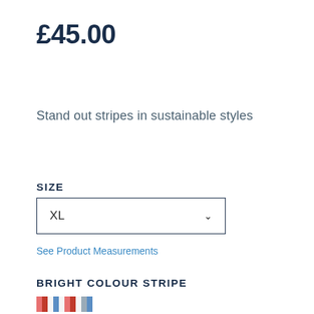£45.00
Stand out stripes in sustainable styles
SIZE
XL
See Product Measurements
BRIGHT COLOUR STRIPE
[Figure (illustration): Colour stripe swatch showing multicoloured vertical stripes in pink, red, white, blue, and grey]